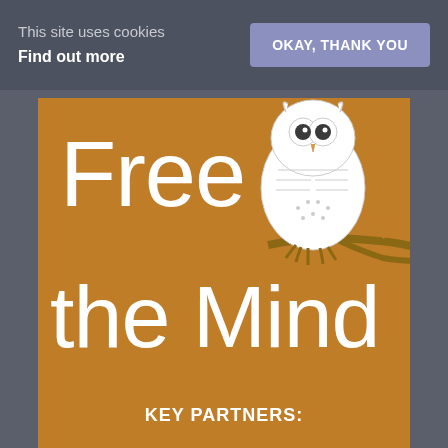This site uses cookies
Find out more
OKAY, THANK YOU
[Figure (logo): Free the Mind banner with orange background, large white text reading 'Free the Mind', and an illustrated owl perched on a branch in the upper right corner]
KEY PARTNERS: